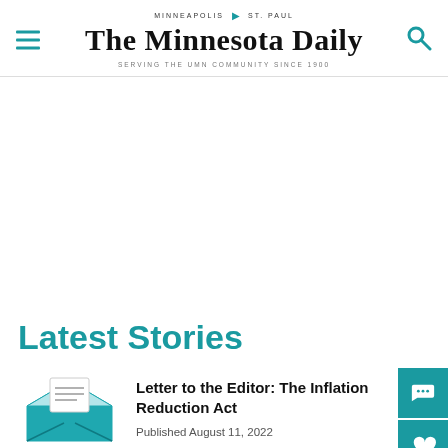MINNEAPOLIS | ST. PAUL
THE MINNESOTA DAILY
SERVING THE UMN COMMUNITY SINCE 1900
Latest Stories
[Figure (illustration): Envelope with letter icon in teal/white colors]
Letter to the Editor: The Inflation Reduction Act
Published August 11, 2022